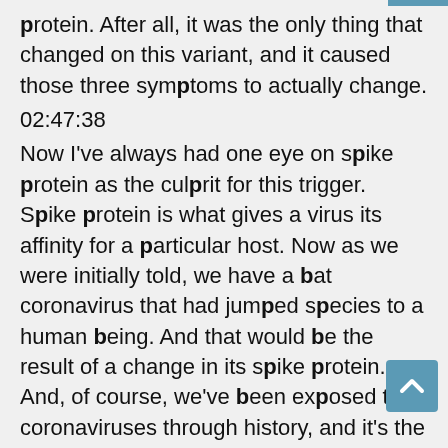protein. After all, it was the only thing that changed on this variant, and it caused those three symptoms to actually change.
02:47:38
Now I've always had one eye on spike protein as the culprit for this trigger. Spike protein is what gives a virus its affinity for a particular host. Now as we were initially told, we have a bat coronavirus that had jumped species to a human being. And that would be the result of a change in its spike protein. And, of course, we've been exposed to coronaviruses through history, and it's the first time I've seen this kind of presentation, an allergic kind of presentation. And so usually when you are exposed to new environments there's a risk that you will be allergic to something, seeing